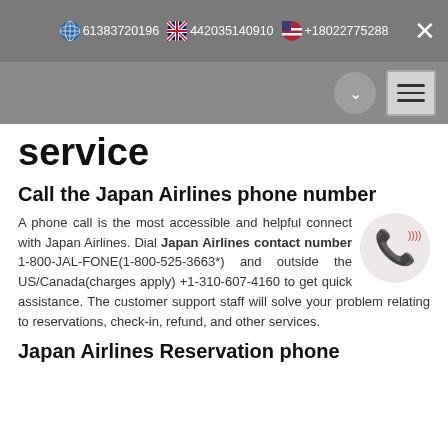61383720196  442035140910  +18022775288
service
Call the Japan Airlines phone number
A phone call is the most accessible and helpful connect with Japan Airlines. Dial Japan Airlines contact number 1-800-JAL-FONE(1-800-525-3663*) and outside the US/Canada(charges apply) +1-310-607-4160 to get quick assistance. The customer support staff will solve your problem relating to reservations, check-in, refund, and other services.
Japan Airlines Reservation phone